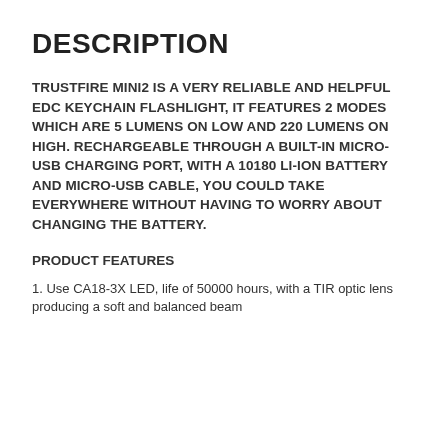DESCRIPTION
TRUSTFIRE MINI2 IS A VERY RELIABLE AND HELPFUL EDC KEYCHAIN FLASHLIGHT, IT FEATURES 2 MODES WHICH ARE 5 LUMENS ON LOW AND 220 LUMENS ON HIGH. RECHARGEABLE THROUGH A BUILT-IN MICRO-USB CHARGING PORT, WITH A 10180 LI-ION BATTERY AND MICRO-USB CABLE, YOU COULD TAKE EVERYWHERE WITHOUT HAVING TO WORRY ABOUT CHANGING THE BATTERY.
PRODUCT FEATURES
1. Use CA18-3X LED, life of 50000 hours, with a TIR optic lens producing a soft and balanced beam